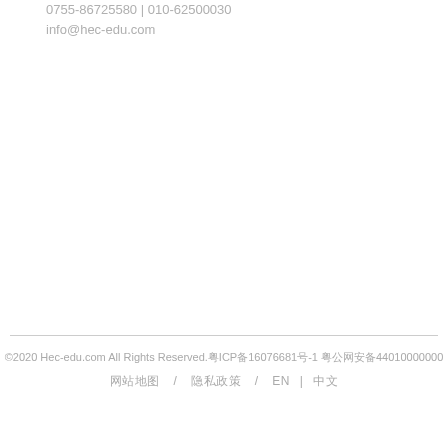0755-86725580 | 010-62500030
info@hec-edu.com
©2020 Hec-edu.com All Rights Reserved.粤ICP备16076681号-1 粤公网安备44010000000
网站地图 / 隐私政策 / EN | 中文